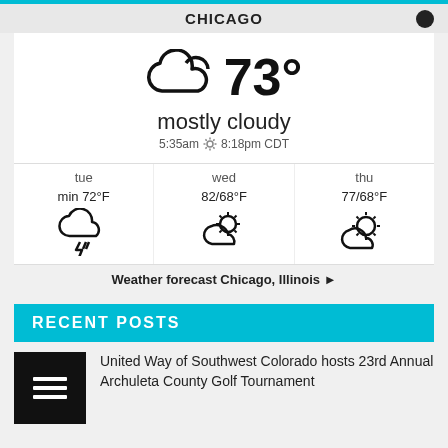CHICAGO
[Figure (infographic): Weather widget showing 73° mostly cloudy in Chicago with cloud icon, sunrise 5:35am and sunset 8:18pm CDT, and a 3-day forecast for Tuesday (min 72°F, thunderstorm), Wednesday (82/68°F, partly cloudy), and Thursday (77/68°F, partly sunny)]
Weather forecast Chicago, Illinois ►
RECENT POSTS
United Way of Southwest Colorado hosts 23rd Annual Archuleta County Golf Tournament